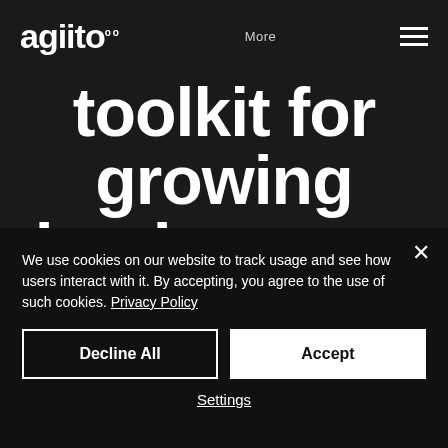agiito  More  ☰
toolkit for growing businesses.
Navigator is an affordable package of travel products that's perfect for
We use cookies on our website to track usage and see how users interact with it. By accepting, you agree to the use of such cookies. Privacy Policy
Decline All
Accept
Settings